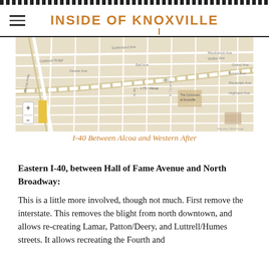INSIDE OF KNOXVILLE
[Figure (map): Google Maps screenshot showing I-40 between Alcoa and Western in Knoxville, TN, with street grid visible]
I-40 Between Alcoa and Western After
Eastern I-40, between Hall of Fame Avenue and North Broadway:
This is a little more involved, though not much. First remove the interstate. This removes the blight from north downtown, and allows re-creating Lamar, Patton/Deery, and Luttrell/Humes streets. It allows recreating the Fourth and